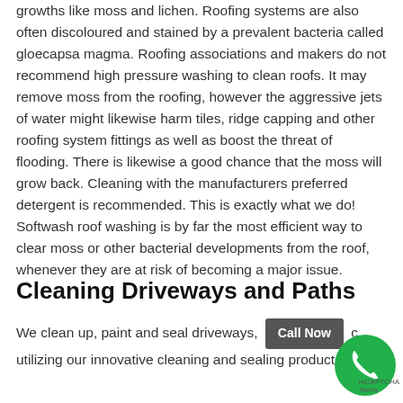growths like moss and lichen. Roofing systems are also often discoloured and stained by a prevalent bacteria called gloecapsa magma. Roofing associations and makers do not recommend high pressure washing to clean roofs. It may remove moss from the roofing, however the aggressive jets of water might likewise harm tiles, ridge capping and other roofing system fittings as well as boost the threat of flooding. There is likewise a good chance that the moss will grow back. Cleaning with the manufacturers preferred detergent is recommended. This is exactly what we do! Softwash roof washing is by far the most efficient way to clear moss or other bacterial developments from the roof, whenever they are at risk of becoming a major issue.
Cleaning Driveways and Paths
We clean up, paint and seal driveways, [Call Now] c... utilizing our innovative cleaning and sealing products. A...